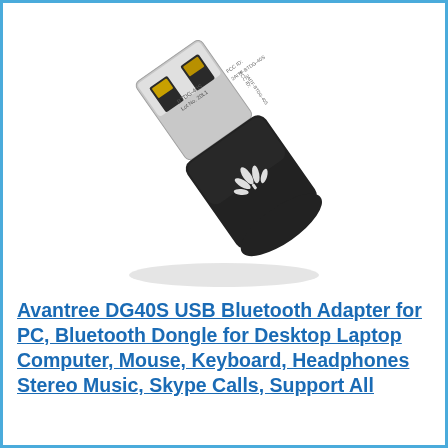[Figure (photo): A USB Bluetooth adapter (Avantree DG40S) shown at an angle. The silver USB connector end is visible with two gold USB contacts, labeled 'BTDG-40S Lot No. 20L1' on top and 'FCC ID: 2AITF-BTDG-40S' on the side. The black plastic body has a white lotus/leaf logo on it. The adapter is tilted diagonally on a white background.]
Avantree DG40S USB Bluetooth Adapter for PC, Bluetooth Dongle for Desktop Laptop Computer, Mouse, Keyboard, Headphones Stereo Music, Skype Calls, Support All